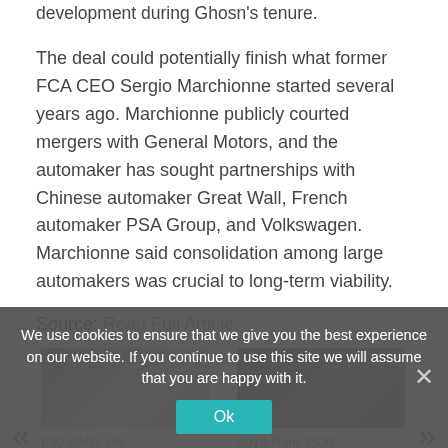development during Ghosn's tenure.
The deal could potentially finish what former FCA CEO Sergio Marchionne started several years ago. Marchionne publicly courted mergers with General Motors, and the automaker has sought partnerships with Chinese automaker Great Wall, French automaker PSA Group, and Volkswagen. Marchionne said consolidation among large automakers was crucial to long-term viability.
Source: Read Full Article
[Figure (photo): Thumbnail image of F92 BMW M8 Competition caught out in the open again]
F92 BMW M8 Competition caught out in the open again
[Figure (photo): Thumbnail image of 2019 Ram 1500 Limited Crew Cab 4x4 Review: A Noble Steed With the...]
2019 Ram 1500 Limited Crew Cab 4x4 Review: A Noble Steed With the...
We use cookies to ensure that we give you the best experience on our website. If you continue to use this site we will assume that you are happy with it.